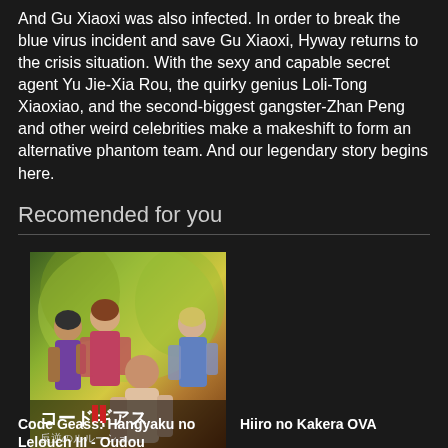And Gu Xiaoxi was also infected. In order to break the blue virus incident and save Gu Xiaoxi, Hyway returns to the crisis situation. With the sexy and capable secret agent Yu Jie-Xia Rou, the quirky genius Loli-Tong Xiaoxiao, and the second-biggest gangster-Zhan Peng and other weird celebrities make a makeshift to form an alternative phantom team. And our legendary story begins here.
Recomended for you
[Figure (illustration): Anime manga cover art showing multiple anime characters in battle poses, with Japanese text コードギアス at the bottom]
Code Geass: Hangyaku no Lelouch III - Oudou
Hiiro no Kakera OVA